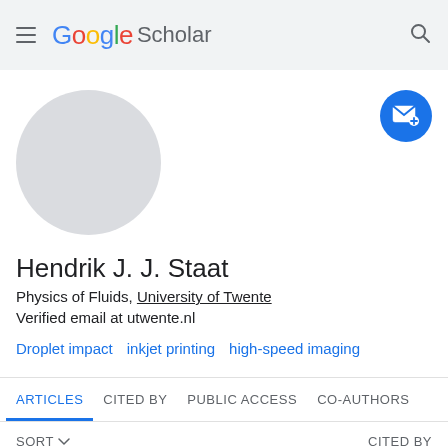Google Scholar
[Figure (photo): Gray placeholder avatar circle for user profile photo]
Hendrik J. J. Staat
Physics of Fluids, University of Twente
Verified email at utwente.nl
Droplet impact
inkjet printing
high-speed imaging
ARTICLES | CITED BY | PUBLIC ACCESS | CO-AUTHORS
SORT ▾   CITED BY
Drop impact on superheated surfaces   422